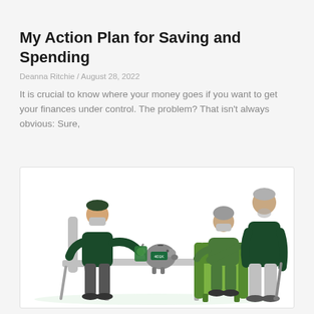My Action Plan for Saving and Spending
Deanna Ritchie / August 28, 2022
It is crucial to know where your money goes if you want to get your finances under control. The problem? That isn't always obvious: Sure,
[Figure (illustration): Illustration of three people: a person sitting at a table holding a phone/money toward a piggy bank labeled '401K', an elderly woman sitting in a green armchair, and an elderly man standing with a cane. The scene depicts a financial planning consultation.]